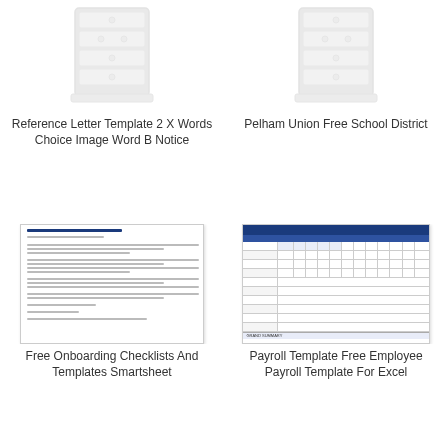[Figure (illustration): Filing cabinet / drawer icon, light gray]
Reference Letter Template 2 X Words Choice Image Word B Notice
[Figure (illustration): Filing cabinet / drawer icon, light gray]
Pelham Union Free School District
[Figure (screenshot): Email template document titled BODY OF EMAIL with placeholder text for onboarding checklists]
Free Onboarding Checklists And Templates Smartsheet
[Figure (screenshot): Payroll Register spreadsheet with blue header row and grid of columns and rows]
Payroll Template Free Employee Payroll Template For Excel